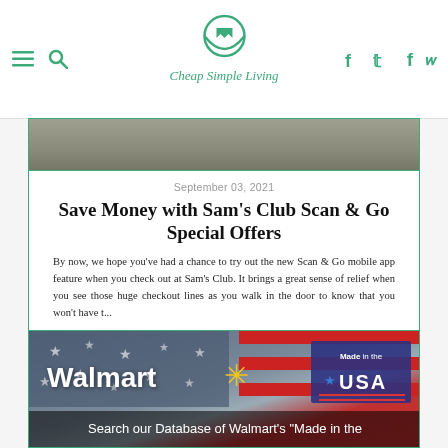Cheap Simple Living
September 03, 2021
Save Money with Sam's Club Scan & Go Special Offers
By now, we hope you've had a chance to try out the new Scan & Go mobile app feature when you check out at Sam's Club. It brings a great sense of relief when you see those huge checkout lines as you walk in the door to know that you won't have t...
Sams Club
Mobile Apps
[Figure (photo): Walmart Made in the USA banner with American flag background, Walmart logo with spark, and 'Made in the USA' badge. Bottom text: Search our Database of Walmart's "Made in the"]